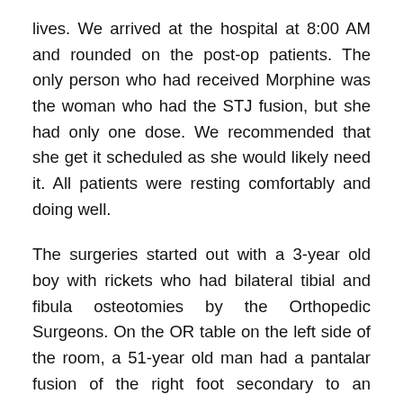lives. We arrived at the hospital at 8:00 AM and rounded on the post-op patients. The only person who had received Morphine was the woman who had the STJ fusion, but she had only one dose. We recommended that she get it scheduled as she would likely need it. All patients were resting comfortably and doing well.
The surgeries started out with a 3-year old boy with rickets who had bilateral tibial and fibula osteotomies by the Orthopedic Surgeons. On the OR table on the left side of the room, a 51-year old man had a pantalar fusion of the right foot secondary to an untreated congenital clubfoot deformity. Four more surgeries were performed that day including a percutaneous tendinoach s tendon lengthening on a 6-year old girl for a flatfoot deformity, a Steindler stripping and